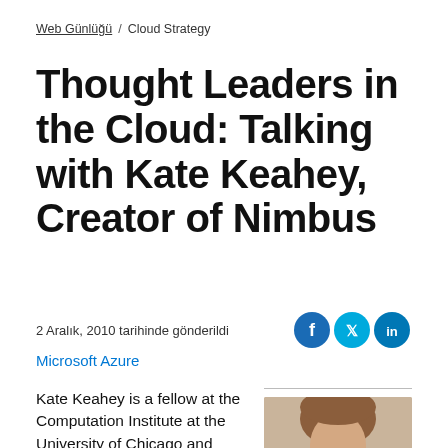Web Günlüğü / Cloud Strategy
Thought Leaders in the Cloud: Talking with Kate Keahey, Creator of Nimbus
2 Aralık, 2010 tarihinde gönderildi
Microsoft Azure
Kate Keahey is a fellow at the Computation Institute at the University of Chicago and works as a scientist at Argonne National Laboratory